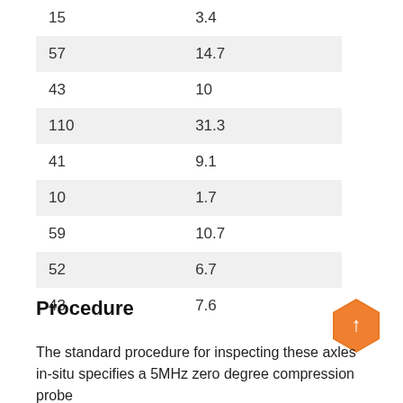| 15 | 3.4 |
| 57 | 14.7 |
| 43 | 10 |
| 110 | 31.3 |
| 41 | 9.1 |
| 10 | 1.7 |
| 59 | 10.7 |
| 52 | 6.7 |
| 43 | 7.6 |
Procedure
The standard procedure for inspecting these axles in-situ specifies a 5MHz zero degree compression probe